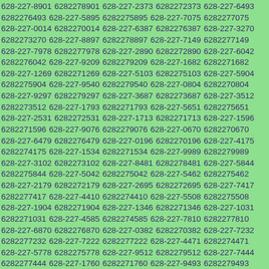628-227-8901 6282278901 628-227-2373 6282272373 628-227-6493 6282276493 628-227-5895 6282275895 628-227-7075 6282277075 628-227-0014 6282270014 628-227-6387 6282276387 628-227-3270 6282273270 628-227-8897 6282278897 628-227-7149 6282277149 628-227-7978 6282277978 628-227-2890 6282272890 628-227-6042 6282276042 628-227-9209 6282279209 628-227-1682 6282271682 628-227-1269 6282271269 628-227-5103 6282275103 628-227-5904 6282275904 628-227-9540 6282279540 628-227-0804 6282270804 628-227-9297 6282279297 628-227-3687 6282273687 628-227-3512 6282273512 628-227-1793 6282271793 628-227-5651 6282275651 628-227-2531 6282272531 628-227-1713 6282271713 628-227-1596 6282271596 628-227-9076 6282279076 628-227-0670 6282270670 628-227-6479 6282276479 628-227-0196 6282270196 628-227-4175 6282274175 628-227-1534 6282271534 628-227-9989 6282279989 628-227-3102 6282273102 628-227-8481 6282278481 628-227-5844 6282275844 628-227-5042 6282275042 628-227-5462 6282275462 628-227-2179 6282272179 628-227-2695 6282272695 628-227-7417 6282277417 628-227-4410 6282274410 628-227-5508 6282275508 628-227-1904 6282271904 628-227-1346 6282271346 628-227-1031 6282271031 628-227-4585 6282274585 628-227-7810 6282277810 628-227-6870 6282276870 628-227-0382 6282270382 628-227-7232 6282277232 628-227-7222 6282277222 628-227-4471 6282274471 628-227-5778 6282275778 628-227-9512 6282279512 628-227-7444 6282277444 628-227-1760 6282271760 628-227-9493 6282279493 628-227-1498 6282271498 628-227-7011 6282277011 628-227-5317